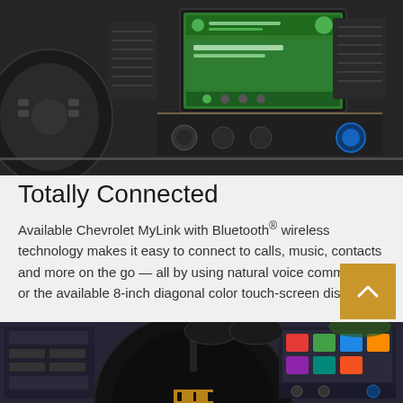[Figure (photo): Car interior dashboard view showing Chevrolet MyLink infotainment screen with Android Auto interface displaying a phone call, surrounded by climate controls and steering wheel]
Totally Connected
Available Chevrolet MyLink with Bluetooth® wireless technology makes it easy to connect to calls, music, contacts and more on the go — all by using natural voice commands or the available 8-inch diagonal color touch-screen display.
[Figure (photo): Chevrolet car interior showing steering wheel with Chevy bowtie logo, instrument cluster, and infotainment screen in center console]